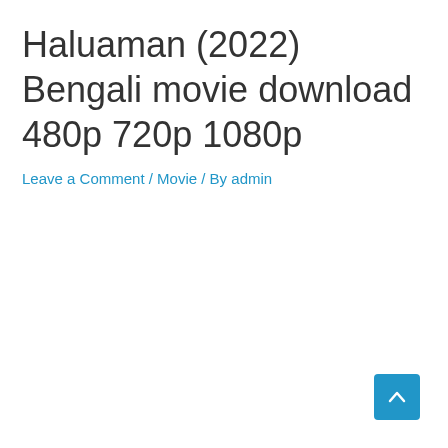Haluaman (2022) Bengali movie download 480p 720p 1080p
Leave a Comment / Movie / By admin